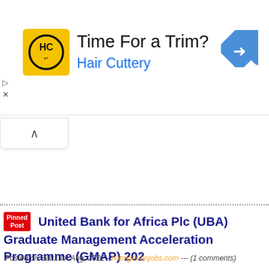[Figure (advertisement): Hair Cuttery advertisement banner with yellow logo, 'Time For a Trim?' headline, 'Hair Cuttery' subtext in blue, and a blue diamond navigation arrow icon on the right.]
Pinned Post  United Bank for Africa Plc (UBA) Graduate Management Acceleration Programme (GMAP) 202...
Posted on Sat 13th Aug, 2022 - hotnigerianjobs.com --- (1 comments)